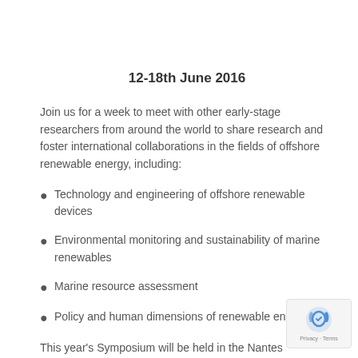12-18th June 2016
Join us for a week to meet with other early-stage researchers from around the world to share research and foster international collaborations in the fields of offshore renewable energy, including:
Technology and engineering of offshore renewable devices
Environmental monitoring and sustainability of marine renewables
Marine resource assessment
Policy and human dimensions of renewable ene…
This year's Symposium will be held in the Nantes